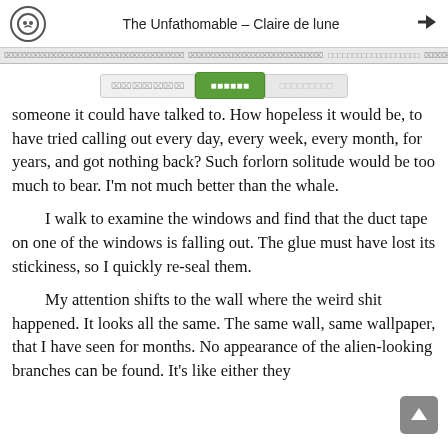The Unfathomable – Claire de lune
someone it could have talked to. How hopeless it would be, to have tried calling out every day, every week, every month, for years, and got nothing back? Such forlorn solitude would be too much to bear. I'm not much better than the whale.
I walk to examine the windows and find that the duct tape on one of the windows is falling out. The glue must have lost its stickiness, so I quickly re-seal them.
My attention shifts to the wall where the weird shit happened. It looks all the same. The same wall, same wallpaper, that I have seen for months. No appearance of the alien-looking branches can be found. It's like either they